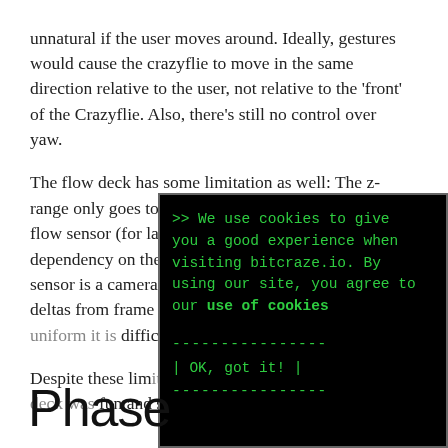unnatural if the user moves around. Ideally, gestures would cause the crazyflie to move in the same direction relative to the user, not relative to the 'front' of the Crazyflie. Also, there's still no control over yaw.
The flow deck has some limitation as well: The z-range only goes to 2 meters with any accuracy. The flow sensor (for lateral stabilization) has a strong dependency on the patterns on the floor below. A flow sensor is a camera that relies on measuring pixel deltas from frame to frame, so if the floor is b[lank or uniform it is difficult to hold p[osition].
Despite these lim[itations,] the Crazyflie wit[h the flow deck was] fun and surprisin[gly capable].
[Figure (screenshot): Terminal/console overlay popup with black background and green monospace text showing a cookie consent message: '>> We use cookies to give you a good experience when visiting bitcraze.io. By using our site, you agree to our use of cookies' followed by a button rendered in ASCII art: '----------------  | OK, got it! |  ----------------']
Phase